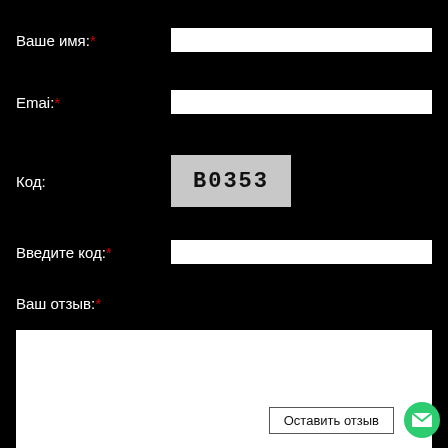Ваше имя:*
Emai:*
Код:
[Figure (other): CAPTCHA image showing the code B0353 on a light grey background]
Введите код:*
Ваш отзыв:*
Оставить отзыв